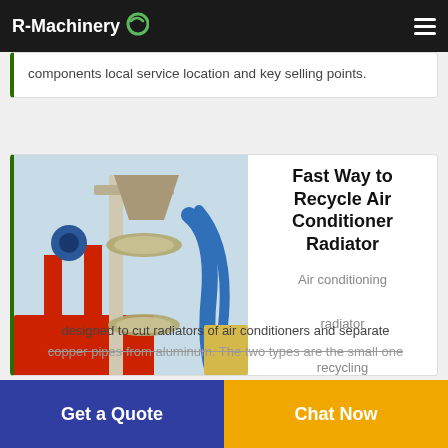R-Machinery
components local service location and key selling points.
Fast Way to Recycle Air Conditioner Radiator
[Figure (photo): Industrial air conditioner radiator recycling machine with red conveyor, grey cylindrical sieves, metal frame, and blue tubes against light blue background.]
Air conditioning radiator recycling machine is designed to cut radiators of air conditioners and separate copper pipes from aluminum. The two types are the small one
Get a Quote
Chat Now